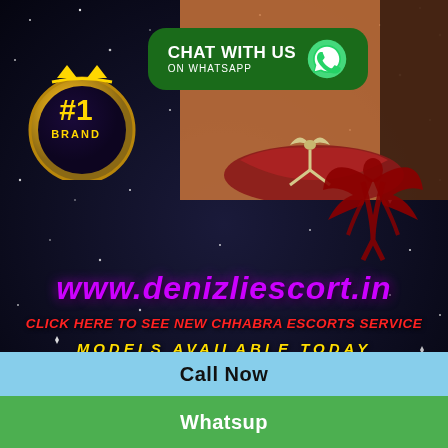[Figure (illustration): Advertisement banner with dark starfield background, a WhatsApp chat button, a #1 Brand badge, illustration of a woman in red bikini, angel figure logo, website URL in purple, red italic text prompting to see escort service, yellow italic models available text, a light blue Call Now bar, and a green Whatsup bar.]
CHAT WITH US ON WHATSAPP
#1 BRAND
www.denizliescort.in
CLICK HERE TO SEE NEW CHHABRA ESCORTS SERVICE
MODELS AVAILABLE TODAY
Call Now
Whatsup